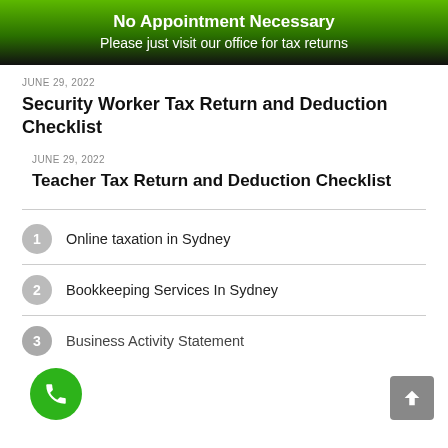No Appointment Necessary
Please just visit our office for tax returns
JUNE 29, 2022
Security Worker Tax Return and Deduction Checklist
JUNE 29, 2022
Teacher Tax Return and Deduction Checklist
1  Online taxation in Sydney
2  Bookkeeping Services In Sydney
3  Business Activity Statement